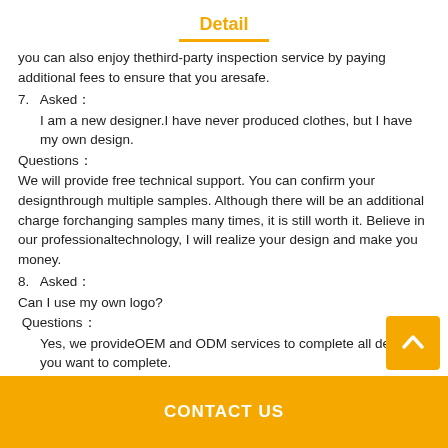Detail
you can also enjoy thethird-party inspection service by paying additional fees to ensure that you aresafe.
7.   Asked：
    I am a new designer.I have never produced clothes, but I have my own design.
Questions：
We will provide free technical support. You can confirm your designthrough multiple samples. Although there will be an additional charge forchanging samples many times, it is still worth it. Believe in our professionaltechnology, I will realize your design and make you money.
8.   Asked：
Can I use my own logo?
 Questions：
    Yes, we provideOEM and ODM services to complete all designs you want to complete.
CONTACT US